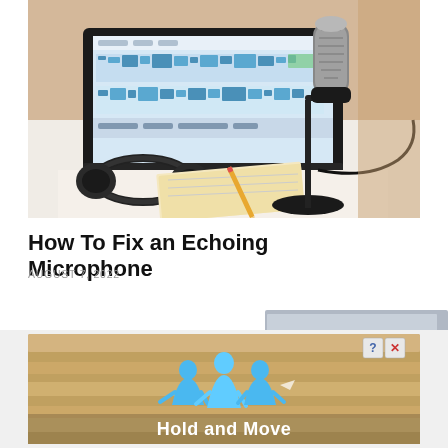[Figure (photo): A podcast or recording setup on a white desk: a black condenser microphone on a stand in the foreground, headphones lying on an open notebook with a pencil, and a laptop showing an audio waveform editor in the background.]
How To Fix an Echoing Microphone
AUGUST 7, 2022
[Figure (screenshot): A partial view of a gray/silver advertisement banner at top right of the page.]
[Figure (screenshot): An advertisement banner with a wooden/tan background showing 3D blue figures (people icons) and the text 'Hold and Move' in white bold font. Has close (X) and help (?) buttons in the top-right corner.]